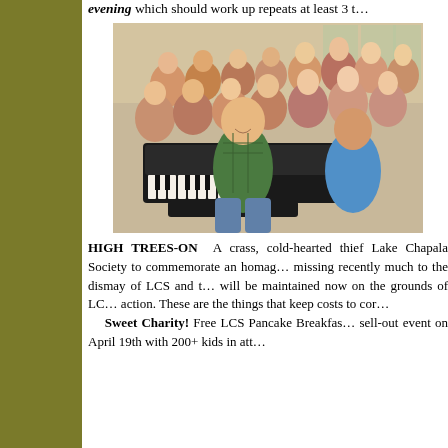evening which should work up repeats at least 3 t…
[Figure (photo): Group photo of approximately 20 adults and one teenager gathered around a grand piano. A man in a green plaid shirt sits at the piano bench smiling, with a young man in a blue shirt beside him. The group stands behind them in a bright room with windows.]
HIGH TREES-ON  A crass, cold-hearted thief … Lake Chapala Society to commemorate an homag… missing recently much to the dismay of LCS and t… will be maintained now on the grounds of LC… action. These are the things that keep costs to cor…    Sweet Charity! Free LCS Pancake Breakfas… sell-out event on April 19th with 200+ kids in att…